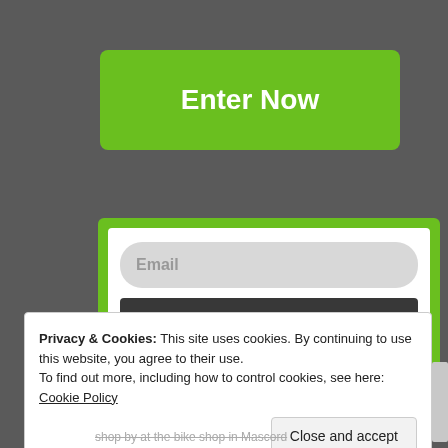Enter Now
[Figure (screenshot): Email subscription form with green border, email input field, and dark SUBSCRIBE! button]
Privacy & Cookies: This site uses cookies. By continuing to use this website, you agree to their use.
To find out more, including how to control cookies, see here: Cookie Policy
Close and accept
shop by at the bike shop in Mascord